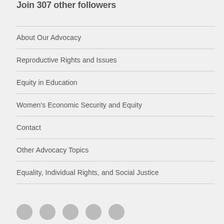Join 307 other followers
About Our Advocacy
Reproductive Rights and Issues
Equity in Education
Women's Economic Security and Equity
Contact
Other Advocacy Topics
Equality, Individual Rights, and Social Justice